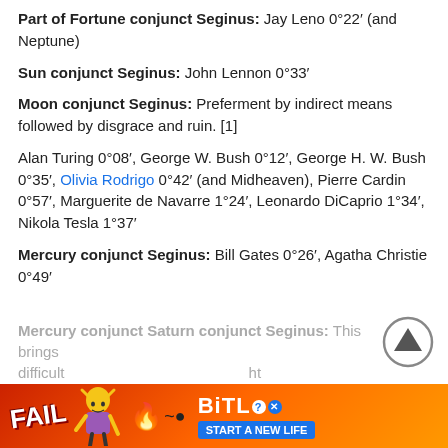Part of Fortune conjunct Seginus: Jay Leno 0°22′ (and Neptune)
Sun conjunct Seginus: John Lennon 0°33′
Moon conjunct Seginus: Preferment by indirect means followed by disgrace and ruin. [1]
Alan Turing 0°08′, George W. Bush 0°12′, George H. W. Bush 0°35′, Olivia Rodrigo 0°42′ (and Midheaven), Pierre Cardin 0°57′, Marguerite de Navarre 1°24′, Leonardo DiCaprio 1°34′, Nikola Tesla 1°37′
Mercury conjunct Seginus: Bill Gates 0°26′, Agatha Christie 0°49′
Mercury conjunct Saturn conjunct Seginus: This brings difficulty... ht